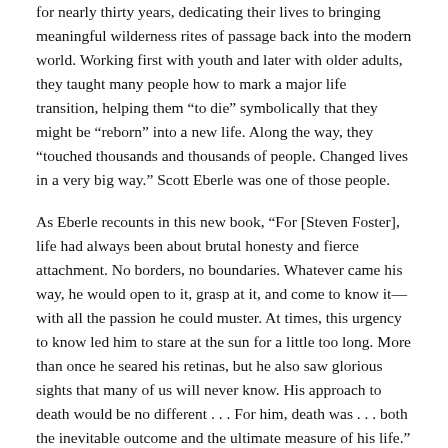for nearly thirty years, dedicating their lives to bringing meaningful wilderness rites of passage back into the modern world. Working first with youth and later with older adults, they taught many people how to mark a major life transition, helping them “to die” symbolically that they might be “reborn” into a new life. Along the way, they “touched thousands and thousands of people. Changed lives in a very big way.” Scott Eberle was one of those people.
As Eberle recounts in this new book, “For [Steven Foster], life had always been about brutal honesty and fierce attachment. No borders, no boundaries. Whatever came his way, he would open to it, grasp at it, and come to know it—with all the passion he could muster. At times, this urgency to know led him to stare at the sun for a little too long. More than once he seared his retinas, but he also saw glorious sights that many of us will never know. His approach to death would be no different . . . For him, death was . . . both the inevitable outcome and the ultimate measure of his life.”
And Eberle had his own internal battle: how to be both Foster’s doctor and his student and friend? After working as an end-of-life physician for nearly two decades and as a